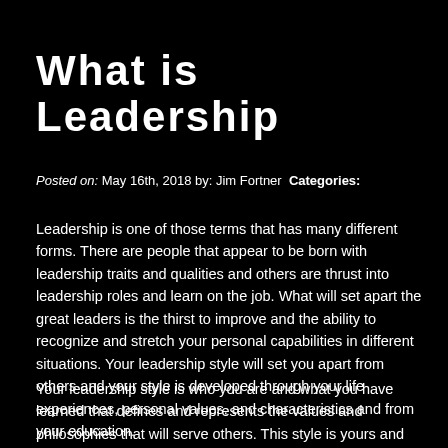What is Leadership
Posted on: May 16th, 2018 by: Jim Fortner  Categories:
Leadership is one of those terms that has many different forms. There are people that appear to be born with leadership traits and qualities and others are thrust into leadership roles and learn on the job. What will set apart the great leaders is the thirst to improve and the ability to recognize and stretch your personal capabilities in different situations. Your leadership style will set you apart from others and your style is developed through your life experiences, personal values, and characteristics and from your education.
Your leadership style is who you are and what you have learned that defines and represents the values and philosophies that will serve others. This style is yours and how you developed to be a servant leader. Your leadership style is what you have in your